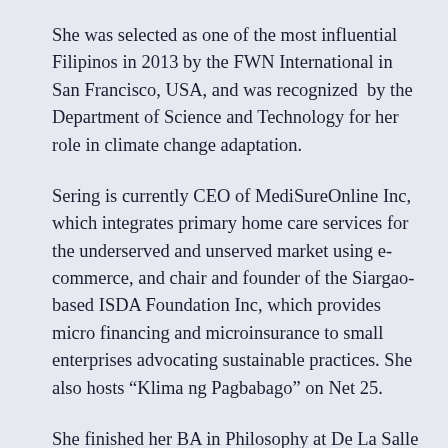She was selected as one of the most influential Filipinos in 2013 by the FWN International in San Francisco, USA, and was recognized by the Department of Science and Technology for her role in climate change adaptation.
Sering is currently CEO of MediSureOnline Inc, which integrates primary home care services for the underserved and unserved market using e-commerce, and chair and founder of the Siargao-based ISDA Foundation Inc, which provides micro financing and microinsurance to small enterprises advocating sustainable practices. She also hosts “Klima ng Pagbabago” on Net 25.
She finished her BA in Philosophy at De La Salle University, her law degree at the San Sebastian